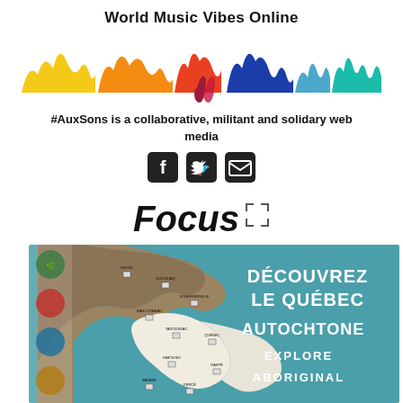World Music Vibes Online
[Figure (illustration): Colorful sound waveform graphic with rainbow gradient — yellow, orange, red, pink, blue, teal segments]
#AuxSons is a collaborative, militant and solidary web media
[Figure (illustration): Social media icons: Facebook, Twitter, Email — white icons on black rounded square backgrounds]
Focus
[Figure (map): Map of Quebec showing indigenous/aboriginal territories with labels and icons, titled 'DÉCOUVREZ LE QUÉBEC AUTOCHTONE / EXPLORE ABORIGINAL' with teal background and legend icons on the left side]